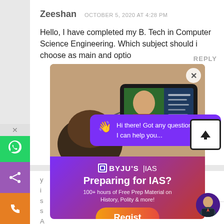Zeeshan   OCTOBER 5, 2020 AT 4:28 PM
Hello, I have completed my B. Tech in Computer Science Engineering. Which subject should i choose as main and optio...
[Figure (screenshot): BYJU'S IAS advertisement overlay showing a person studying on a tablet, with purple/red gradient banner reading 'Preparing for IAS? 100+ hours of Free Prep Material on History, Polity & more!' and a Register button]
[Figure (screenshot): Purple chat bubble with wave emoji saying 'Hi there! Got any questions? I can help you...' and an upload/scroll-to-top button]
REPLY
REPLY